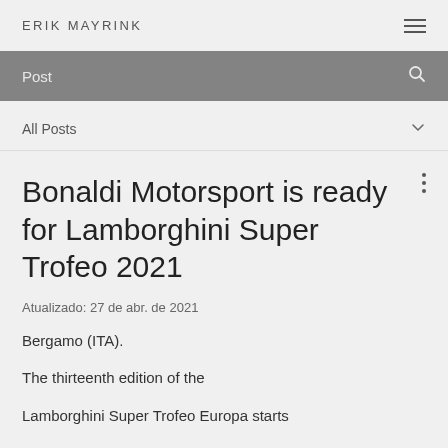ERIK MAYRINK
Post
All Posts
Bonaldi Motorsport is ready for Lamborghini Super Trofeo 2021
Atualizado: 27 de abr. de 2021
Bergamo (ITA).
The thirteenth edition of the
Lamborghini Super Trofeo Europa starts